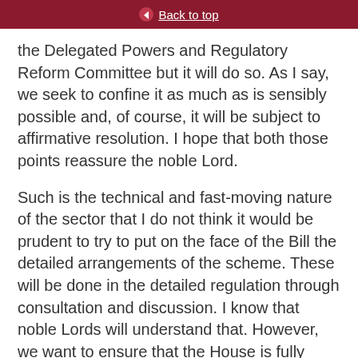Back to top
the Delegated Powers and Regulatory Reform Committee but it will do so. As I say, we seek to confine it as much as is sensibly possible and, of course, it will be subject to affirmative resolution. I hope that both those points reassure the noble Lord.
Such is the technical and fast-moving nature of the sector that I do not think it would be prudent to try to put on the face of the Bill the detailed arrangements of the scheme. These will be done in the detailed regulation through consultation and discussion. I know that noble Lords will understand that. However, we want to ensure that the House is fully aware of how we intend to operate this measure. As I have said, we have published draft regulations and are continuing discussions with the